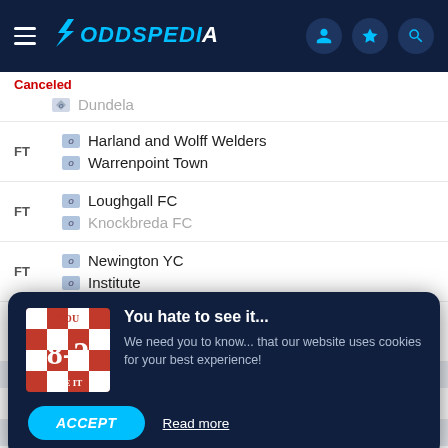ODDSPEDIA
Canceled
Dundela
FT
Harland and Wolff Welders
Warrenpoint Town
FT
Loughgall FC
Knockbreda FC
FT
Newington YC
Institute
FT
Dundela
Ballyclare Comrades
26 AUG FRIDAY
14:45
AWAY
27 AUG SATURDAY
[Figure (screenshot): Cookie consent popup overlay with '8-2' image and text: 'You hate to see it... We need you to know... that our website uses cookies for your best experience!' with ACCEPT and Read more buttons]